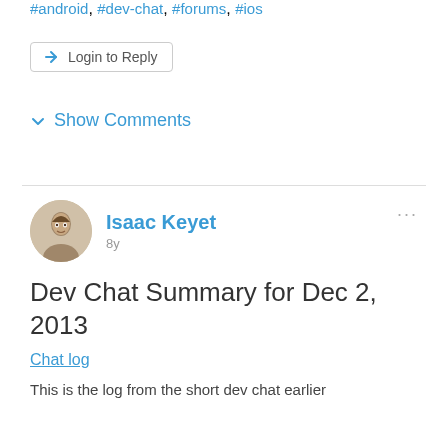#android, #dev-chat, #forums, #ios
Login to Reply
Show Comments
Isaac Keyet
8y
Dev Chat Summary for Dec 2, 2013
Chat log
This is the log from the short dev chat earlier